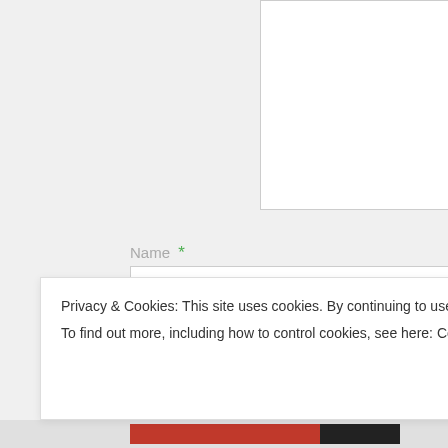[Figure (screenshot): Web form with textarea (top), Name field with required asterisk, Email field with required asterisk, and Website label, shown on a light gray background.]
Name *
Email *
Website
Privacy & Cookies: This site uses cookies. By continuing to use this website, you agree to their use.
To find out more, including how to control cookies, see here: Cookie Policy
Close and accept